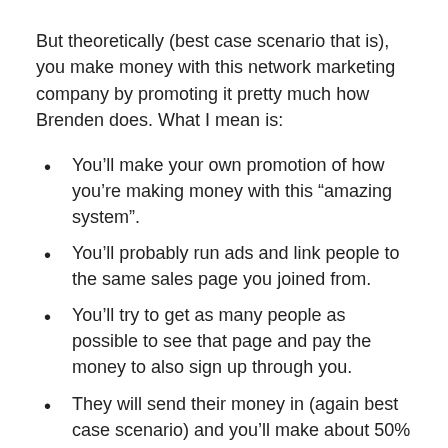But theoretically (best case scenario that is), you make money with this network marketing company by promoting it pretty much how Brenden does. What I mean is:
You'll make your own promotion of how you're making money with this “amazing system”.
You'll probably run ads and link people to the same sales page you joined from.
You'll try to get as many people as possible to see that page and pay the money to also sign up through you.
They will send their money in (again best case scenario) and you’ll make about 50% from each sale.